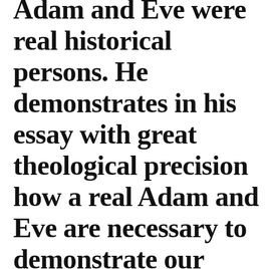Adam and Eve were real historical persons. He demonstrates in his essay with great theological precision how a real Adam and Eve are necessary to demonstrate our need of Savior (the